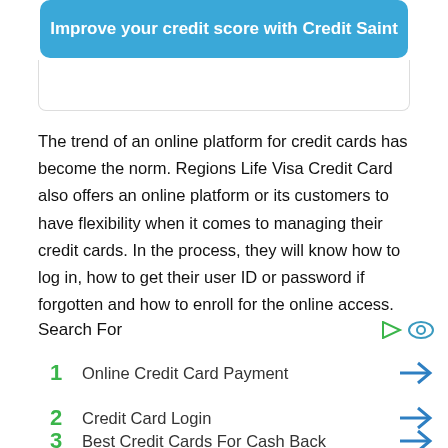[Figure (other): Blue rounded button banner with text 'Improve your credit score with Credit Saint']
The trend of an online platform for credit cards has become the norm. Regions Life Visa Credit Card also offers an online platform or its customers to have flexibility when it comes to managing their credit cards. In the process, they will know how to log in, how to get their user ID or password if forgotten and how to enroll for the online access.
Search For
1  Online Credit Card Payment
2  Credit Card Login
3  Best Credit Cards For Cash Back